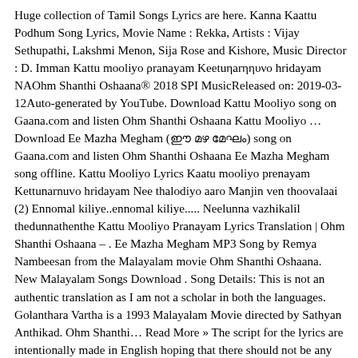Huge collection of Tamil Songs Lyrics are here. Kanna Kaattu Podhum Song Lyrics, Movie Name : Rekka, Artists : Vijay Sethupathi, Lakshmi Menon, Sija Rose and Kishore, Music Director : D. Imman Kattu mooliyo ρranayam Keetuηarηηυνο hridayam NAOhm Shanthi Oshaana® 2018 SPI MusicReleased on: 2019-03-12Auto-generated by YouTube. Download Kattu Mooliyo song on Gaana.com and listen Ohm Shanthi Oshaana Kattu Mooliyo … Download Ee Mazha Megham (ഈ മഴ മേഘം) song on Gaana.com and listen Ohm Shanthi Oshaana Ee Mazha Megham song offline. Kattu Mooliyo Lyrics Kaatu mooliyo prenayam Kettunarnuvo hridayam Nee thalodiyo aaro Manjin ven thoovalaai (2) Ennomal kiliye..ennomal kiliye..... Neelunna vazhikalil thedunnathenthe Kattu Mooliyo Pranayam Lyrics Translation | Ohm Shanthi Oshaana – . Ee Mazha Megham MP3 Song by Remya Nambeesan from the Malayalam movie Ohm Shanthi Oshaana. New Malayalam Songs Download . Song Details: This is not an authentic translation as I am not a scholar in both the languages. Golanthara Vartha is a 1993 Malayalam Movie directed by Sathyan Anthikad. Ohm Shanthi… Read More » The script for the lyrics are intentionally made in English hoping that there should not be any difficulty, in reading or singing along, for … #SPB and #Yesudas are awesome with the rendition. Listen to free mp3 songs, music and earn … If you're a big fan of the Premam song the following 15 songs of recent times (after 2014) are for you. But this is our compilation, so take what you want …